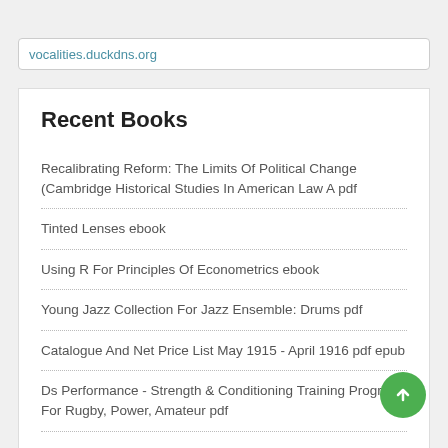vocalities.duckdns.org
Recent Books
Recalibrating Reform: The Limits Of Political Change (Cambridge Historical Studies In American Law A pdf
Tinted Lenses ebook
Using R For Principles Of Econometrics ebook
Young Jazz Collection For Jazz Ensemble: Drums pdf
Catalogue And Net Price List May 1915 - April 1916 pdf epub
Ds Performance - Strength & Conditioning Training Program For Rugby, Power, Amateur pdf